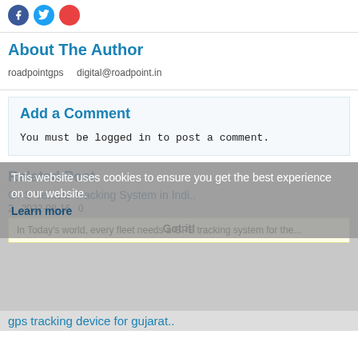[Figure (infographic): Social media share icons: Facebook (blue circle), Twitter (light blue circle), and a red plus circle]
About The Author
roadpointgps    digital@roadpoint.in
Add a Comment
You must be logged in to post a comment.
Related Post
This website uses cookies to ensure you get the best experience on our website.
Learn more
GPS Vehicle Tracking System in Indi..
2   2022-08-16   0
In Today's world, every fleet needs a GPS tracking system for the...
Got it!
gps tracking device for gujarat..